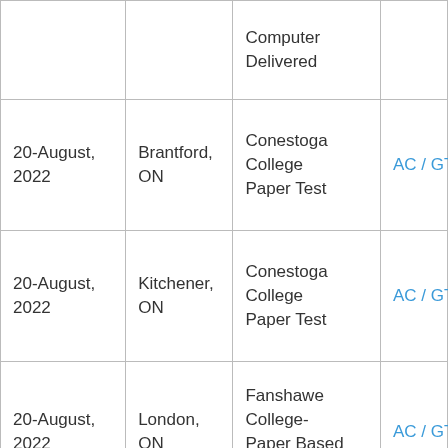| Date | Location | Test Centre | Links |
| --- | --- | --- | --- |
|  |  | Computer Delivered |  |
| 20-August, 2022 | Brantford, ON | Conestoga College Paper Test | AC / GT |
| 20-August, 2022 | Kitchener, ON | Conestoga College Paper Test | AC / GT |
| 20-August, 2022 | London, ON | Fanshawe College- Paper Based Test | AC / GT |
| 20-August, ... |  | Milton- Conestoga ... |  |